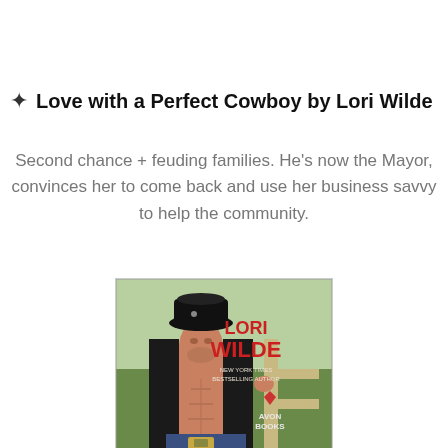✦ Love with a Perfect Cowboy by Lori Wilde
Second chance + feuding families. He's now the Mayor, convinces her to come back and use her business savvy to help the community.
[Figure (photo): Book cover of 'Love with a Perfect Cowboy' by Lori Wilde, published by Avon Books. Shows a shirtless muscular man wearing a black cowboy hat, holding a fence rail outdoors. Red text reads 'LORI WILDE' and 'NEW YORK TIMES BESTSELLING AUTHOR'. Avon Books logo visible. Bottom shows title 'Love' in script.]